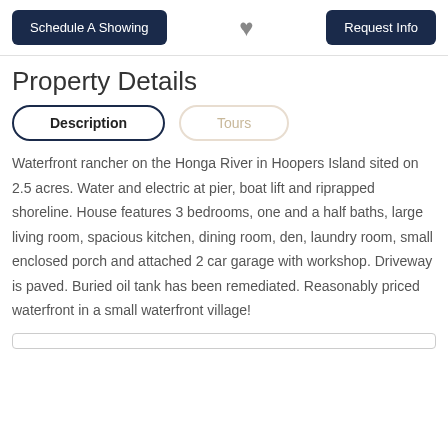Schedule A Showing | [heart] | Request Info
Property Details
Description | Tours
Waterfront rancher on the Honga River in Hoopers Island sited on 2.5 acres. Water and electric at pier, boat lift and riprapped shoreline. House features 3 bedrooms, one and a half baths, large living room, spacious kitchen, dining room, den, laundry room, small enclosed porch and attached 2 car garage with workshop. Driveway is paved. Buried oil tank has been remediated. Reasonably priced waterfront in a small waterfront village!